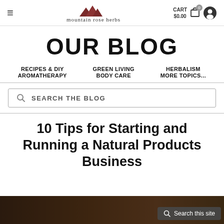mountain rose herbs — CART $0.00
OUR BLOG
RECIPES & DIY | AROMATHERAPY | GREEN LIVING | BODY CARE | HERBALISM | MORE TOPICS...
SEARCH THE BLOG
10 Tips for Starting and Running a Natural Products Business
[Figure (photo): Bottom strip showing a dark dimly lit shop image and a 'Search this site' button overlay]